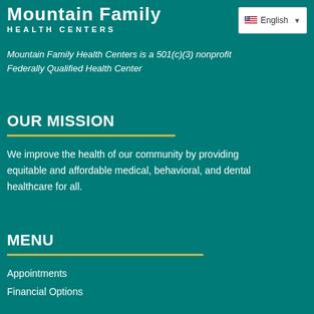Mountain Family HEALTH CENTERS
[Figure (other): Language selector widget showing English with flag icon and dropdown arrow]
Mountain Family Health Centers is a 501(c)(3) nonprofit Federally Qualified Health Center
OUR MISSION
We improve the health of our community by providing equitable and affordable medical, behavioral, and dental healthcare for all.
MENU
Appointments
Financial Options